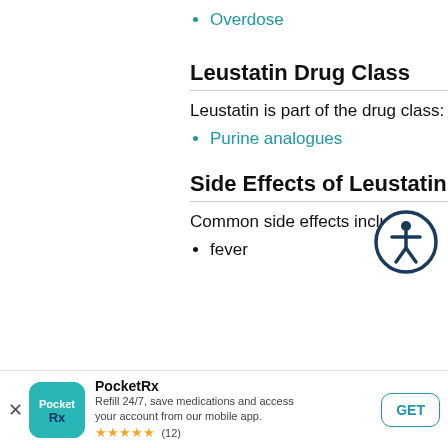Overdose
Leustatin Drug Class
Leustatin is part of the drug class:
Purine analogues
[Figure (illustration): Accessibility icon: person in circle with dark blue border]
Side Effects of Leustatin
Common side effects include:
fever
PocketRx
Refill 24/7, save medications and access your account from our mobile app.
★★★★★ (12)